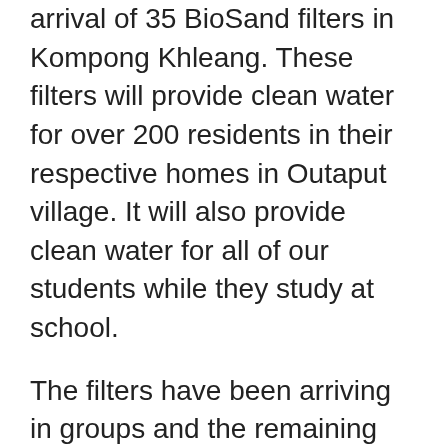arrival of 35 BioSand filters in Kompong Khleang. These filters will provide clean water for over 200 residents in their respective homes in Outaput village. It will also provide clean water for all of our students while they study at school.
The filters have been arriving in groups and the remaining filters arrived last Saturday. A training was conducted by Sea and his clean water team so residents could understand the science behind the filters and the importance of daily use and maintenance. Afterwards, filters were brought to homes via mopeds and tractors where they were installed by clean water professionals. They will